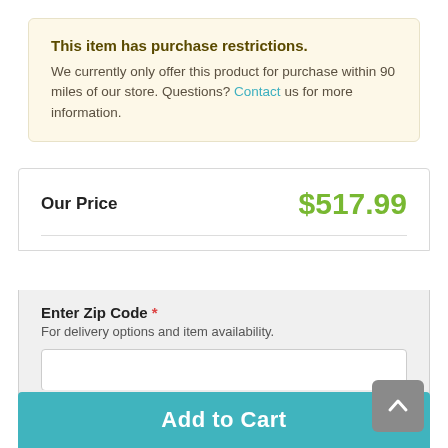This item has purchase restrictions. We currently only offer this product for purchase within 90 miles of our store. Questions? Contact us for more information.
Our Price $517.99
Enter Zip Code * For delivery options and item availability.
1
Add to Cart